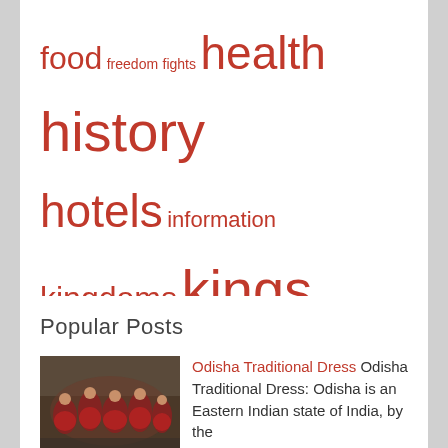food freedom fights health history hotels information kingdoms kings languages people philosophy places religion sports temples tourism wars weddings yoga
Popular Posts
[Figure (photo): Group of women in traditional red Indian dance costumes performing Odisha traditional dance]
Odisha Traditional Dress Odisha Traditional Dress: Odisha is an Eastern Indian state of India, by the be...